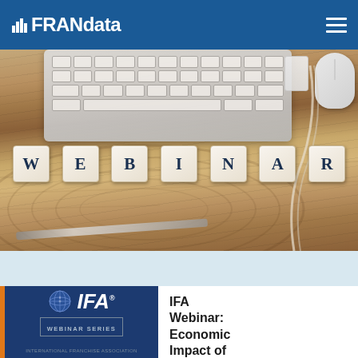FRANdata
[Figure (photo): Webinar photo with letter tiles spelling WEBINAR on a wood surface, keyboard and mouse in background]
[Figure (logo): IFA International Franchise Association logo with WEBINAR SERIES badge on dark blue background]
IFA Webinar: Economic Impact of